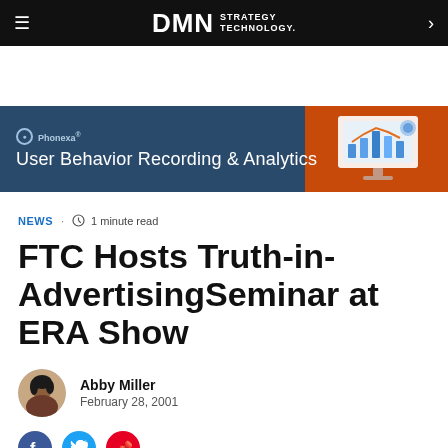DMN STRATEGY TECHNOLOGY.
[Figure (infographic): Phonexa advertisement banner: 'User Behavior Recording & Analytics' with a monitor/analytics dashboard illustration on the right side against a blue and orange background.]
NEWS · 1 minute read
FTC Hosts Truth-in-AdvertisingSeminar at ERA Show
Abby Miller
February 28, 2001